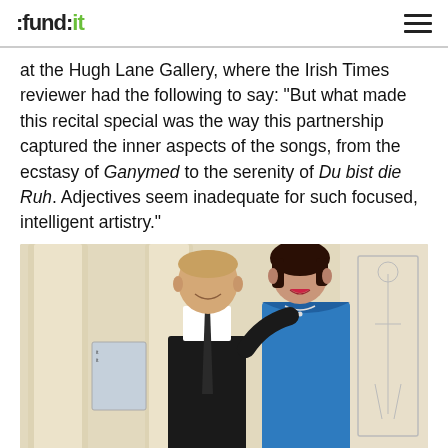:fund:it
at the Hugh Lane Gallery, where the Irish Times reviewer had the following to say: "But what made this recital special was the way this partnership captured the inner aspects of the songs, from the ecstasy of Ganymed to the serenity of Du bist die Ruh. Adjectives seem inadequate for such focused, intelligent artistry."
[Figure (photo): Two people posing together in a grand hall with columns: a man in a dark suit with white shirt and tie on the left, and a woman in a blue dress on the right, both smiling.]